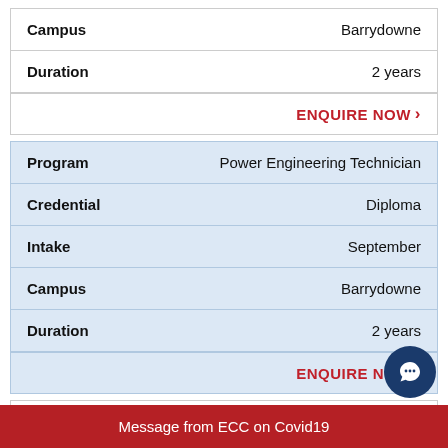| Field | Value |
| --- | --- |
| Campus | Barrydowne |
| Duration | 2 years |
|  | ENQUIRE NOW > |
| Field | Value |
| --- | --- |
| Program | Power Engineering Technician |
| Credential | Diploma |
| Intake | September |
| Campus | Barrydowne |
| Duration | 2 years |
|  | ENQUIRE NOW > |
| Field | Value |
| --- | --- |
| Program | Power Engineering Techno... |
Message from ECC on Covid19